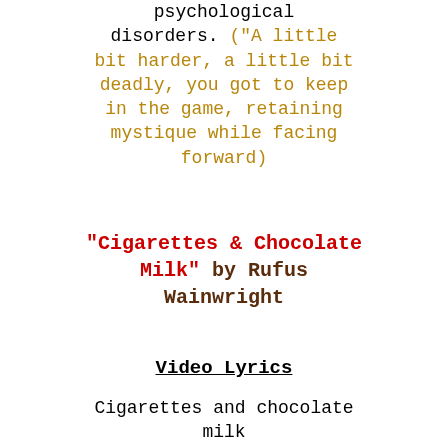psychological disorders. ("A little bit harder, a little bit deadly, you got to keep in the game, retaining mystique while facing forward)
"Cigarettes & Chocolate Milk" by Rufus Wainwright
Video Lyrics
Cigarettes and chocolate milk
These are just a couple of my cravings
Everything it seems I like's a little bit stronger